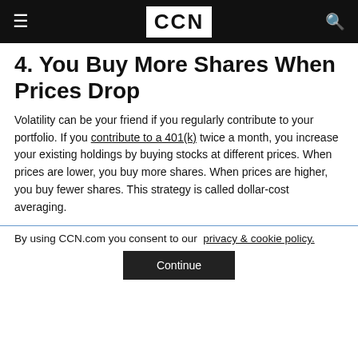CCN
4. You Buy More Shares When Prices Drop
Volatility can be your friend if you regularly contribute to your portfolio. If you contribute to a 401(k) twice a month, you increase your existing holdings by buying stocks at different prices. When prices are lower, you buy more shares. When prices are higher, you buy fewer shares. This strategy is called dollar-cost averaging.
By using CCN.com you consent to our  privacy & cookie policy.
Continue